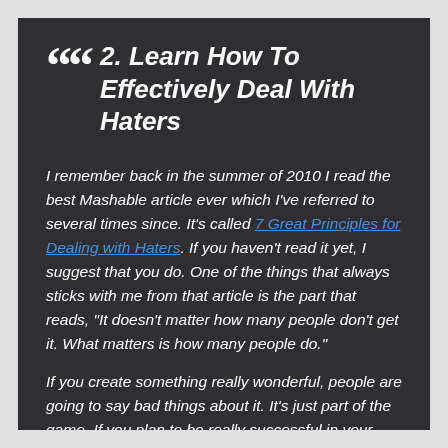2. Learn How To Effectively Deal With Haters
I remember back in the summer of 2010 I read the best Mashable article ever which I've referred to several times since. It's called 7 Great Principles for Dealing with Haters. If you haven't read it yet, I suggest that you do. One of the things that always sticks with me from that article is the part that reads, "It doesn't matter how many people don't get it. What matters is how many people do."
If you create something really wonderful, people are going to say bad things about it. It's just part of the game. If you plan to be really successful in your creative field, it's just something to accept. Once you get some